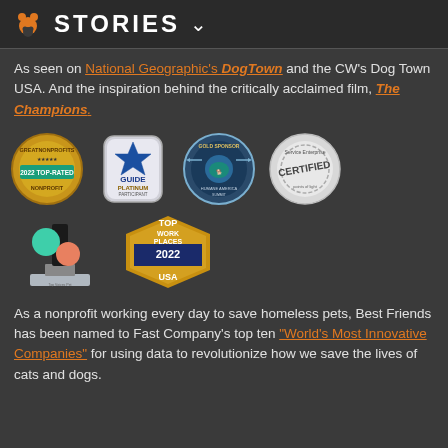STORIES
As seen on National Geographic's DogTown and the CW's Dog Town USA. And the inspiration behind the critically acclaimed film, The Champions.
[Figure (logo): Four award badges: GreatNonprofits 2022 Top-Rated Nonprofit, GuideStar Platinum Participant, Gold Sponsor Humane America, Service Enterprise Certified]
[Figure (photo): Two award trophies/badges: an award statue and Top Work Places 2022 USA badge]
As a nonprofit working every day to save homeless pets, Best Friends has been named to Fast Company's top ten "World's Most Innovative Companies" for using data to revolutionize how we save the lives of cats and dogs.